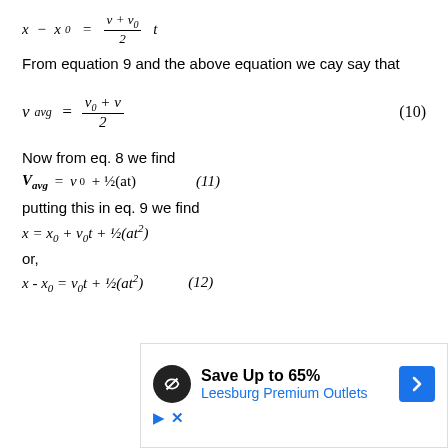From equation 9 and the above equation we cay say that
Now from eq. 8 we find
putting this in eq. 9 we find
or,
[Figure (other): Advertisement overlay: Save Up to 65% Leesburg Premium Outlets]